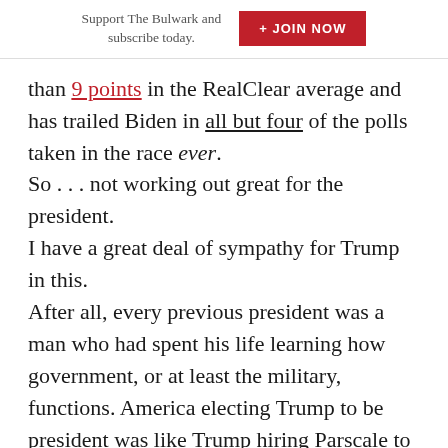Support The Bulwark and subscribe today.  + JOIN NOW
than 9 points in the RealClear average and has trailed Biden in all but four of the polls taken in the race ever.
So . . . not working out great for the president.
I have a great deal of sympathy for Trump in this.
After all, every previous president was a man who had spent his life learning how government, or at least the military, functions. America electing Trump to be president was like Trump hiring Parscale to run his campaign.